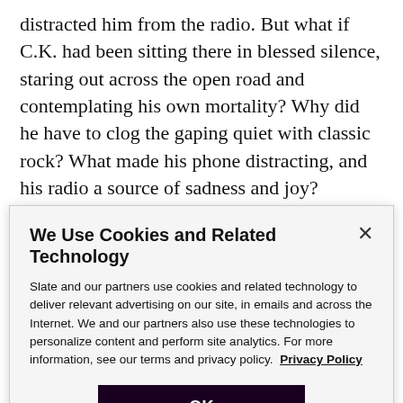distracted him from the radio. But what if C.K. had been sitting there in blessed silence, staring out across the open road and contemplating his own mortality? Why did he have to clog the gaping quiet with classic rock? What made his phone distracting, and his radio a source of sadness and joy?
We like to think that antique distractions—Isaac Asimov, Carl Kasell, Bruce Springsteen—are superior to
We Use Cookies and Related Technology
Slate and our partners use cookies and related technology to deliver relevant advertising on our site, in emails and across the Internet. We and our partners also use these technologies to personalize content and perform site analytics. For more information, see our terms and privacy policy.  Privacy Policy
OK